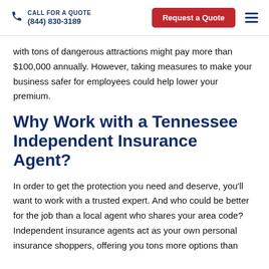CALL FOR A QUOTE (844) 830-3189 | Request a Quote
with tons of dangerous attractions might pay more than $100,000 annually. However, taking measures to make your business safer for employees could help lower your premium.
Why Work with a Tennessee Independent Insurance Agent?
In order to get the protection you need and deserve, you'll want to work with a trusted expert. And who could be better for the job than a local agent who shares your area code? Independent insurance agents act as your own personal insurance shoppers, offering you tons more options than